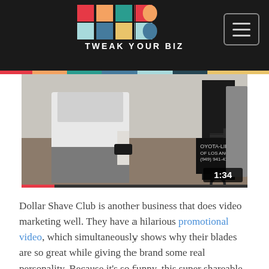TWEAK YOUR BIZ
[Figure (screenshot): Video thumbnail showing a man in a white shirt in a warehouse with a Toyota forklift. Video duration badge shows 1:34. Red progress bar at the bottom.]
Dollar Shave Club is another business that does video marketing well. They have a hilarious promotional video, which simultaneously shows why their blades are so great while giving the brand some real personality. Because it’s so funny, this super shareable example went viral, boosting the company’s brand awareness and helping to build its backlink profile along the way.